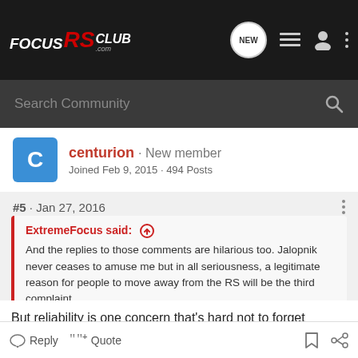FocusRS Club.com — navigation bar with Search Community, NEW, list, user, and more icons
centurion · New member
Joined Feb 9, 2015 · 494 Posts
#5 · Jan 27, 2016
ExtremeFocus said: ↑
And the replies to those comments are hilarious too. Jalopnik never ceases to amuse me but in all seriousness, a legitimate reason for people to move away from the RS will be the third complaint.
But reliability is one concern that's hard not to forget especially with a performance german car.
Reply   Quote   [bookmark]   [share]